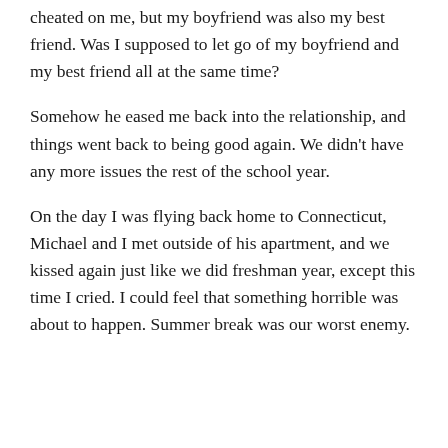cheated on me, but my boyfriend was also my best friend. Was I supposed to let go of my boyfriend and my best friend all at the same time?
Somehow he eased me back into the relationship, and things went back to being good again. We didn't have any more issues the rest of the school year.
On the day I was flying back home to Connecticut, Michael and I met outside of his apartment, and we kissed again just like we did freshman year, except this time I cried. I could feel that something horrible was about to happen. Summer break was our worst enemy.